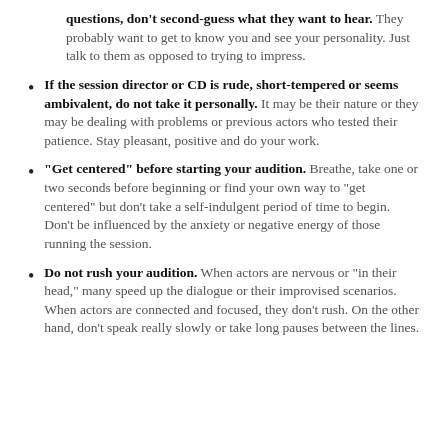questions, don't second-guess what they want to hear. They probably want to get to know you and see your personality. Just talk to them as opposed to trying to impress.
If the session director or CD is rude, short-tempered or seems ambivalent, do not take it personally. It may be their nature or they may be dealing with problems or previous actors who tested their patience. Stay pleasant, positive and do your work.
“Get centered” before starting your audition. Breathe, take one or two seconds before beginning or find your own way to “get centered” but don’t take a self-indulgent period of time to begin. Don’t be influenced by the anxiety or negative energy of those running the session.
Do not rush your audition. When actors are nervous or “in their head,” many speed up the dialogue or their improvised scenarios. When actors are connected and focused, they don’t rush. On the other hand, don’t speak really slowly or take long pauses between the lines.